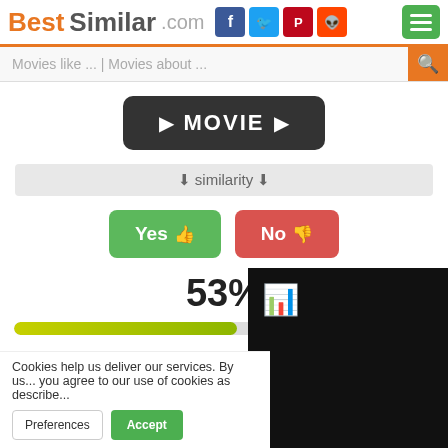BestSimilar.com
Movies like ... | Movies about ...
[Figure (other): Dark rounded button with play arrows and MOVIE text label]
⬇ similarity ⬇
[Figure (other): Yes thumbs-up button (green) and No thumbs-down button (red)]
53%
[Figure (other): Yellow-green horizontal progress bar at 53%]
Cookies help us deliver our services. By us... you agree to our use of cookies as describe...
Preferences   Accept